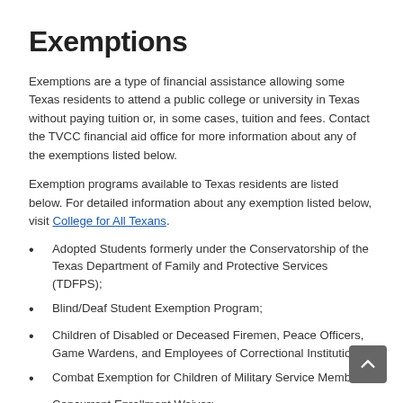Exemptions
Exemptions are a type of financial assistance allowing some Texas residents to attend a public college or university in Texas without paying tuition or, in some cases, tuition and fees.  Contact the TVCC financial aid office for more information about any of the exemptions listed below.
Exemption programs available to Texas residents are listed below. For detailed information about any exemption listed below, visit College for All Texans.
Adopted Students formerly under the Conservatorship of the Texas Department of Family and Protective Services (TDFPS);
Blind/Deaf Student Exemption Program;
Children of Disabled or Deceased Firemen, Peace Officers, Game Wardens, and Employees of Correctional Institutions;
Combat Exemption for Children of Military Service Members;
Concurrent Enrollment Waiver;